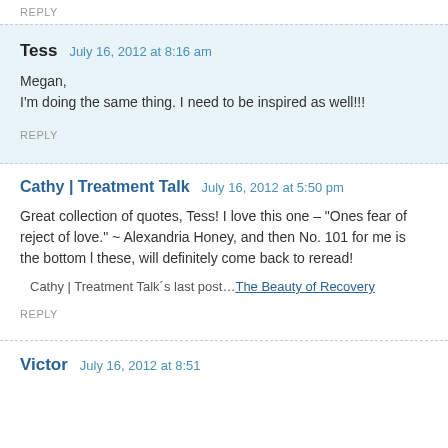REPLY
Tess   July 16, 2012 at 8:16 am
Megan,
I'm doing the same thing. I need to be inspired as well!!!
REPLY
Cathy | Treatment Talk   July 16, 2012 at 5:50 pm
Great collection of quotes, Tess! I love this one – "Ones fear of reject of love." ~ Alexandria Honey, and then No. 101 for me is the bottom l these, will definitely come back to reread!
Cathy | Treatment Talk´s last post…The Beauty of Recovery
REPLY
Victor   July 16, 2012 at 8:51